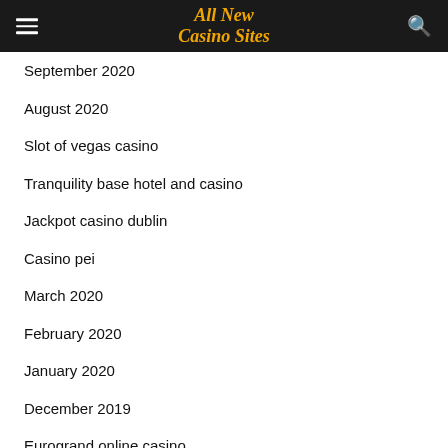All New Casino Sites
September 2020
August 2020
Slot of vegas casino
Tranquility base hotel and casino
Jackpot casino dublin
Casino pei
March 2020
February 2020
January 2020
December 2019
Eurogrand online casino
October 2019
September 2019